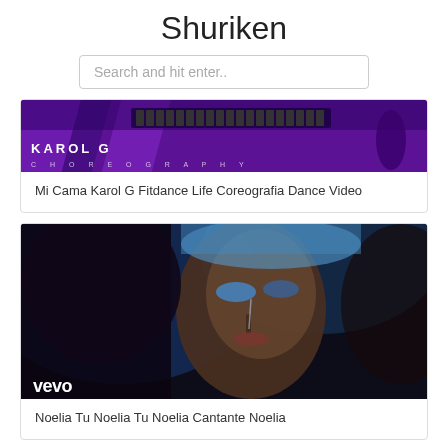Shuriken
Search and hit enter..
[Figure (screenshot): Thumbnail from a dance video featuring Karol G with purple background and text 'KAROL G' and 'CHOREOGRAPHY']
Mi Cama Karol G Fitdance Life Coreografia Dance Video
[Figure (screenshot): Thumbnail from a Vevo music video showing a close-up of a woman's face with blue tones, dark lighting]
Noelia Tu Noelia Tu Noelia Cantante Noelia